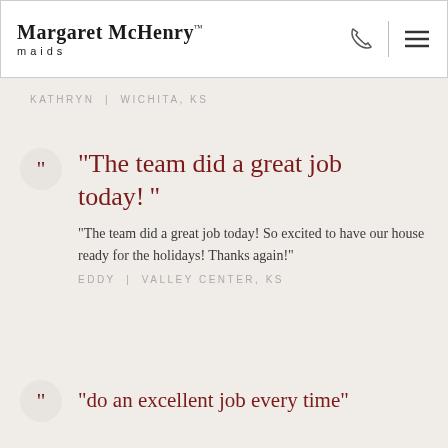Margaret McHenry™ maids
KATHRYN | WICHITA, KS
“The team did a great job today!”
“The team did a great job today! So excited to have our house ready for the holidays! Thanks again!”
EDDY | VALLEY CENTER, KS
“do an excellent job every time”